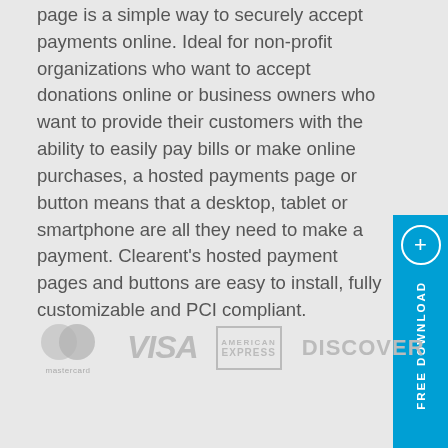page is a simple way to securely accept payments online. Ideal for non-profit organizations who want to accept donations online or business owners who want to provide their customers with the ability to easily pay bills or make online purchases, a hosted payments page or button means that a desktop, tablet or smartphone are all they need to make a payment. Clearent's hosted payment pages and buttons are easy to install, fully customizable and PCI compliant.
[Figure (illustration): Payment card brand logos: Mastercard, Visa, American Express, Discover — shown in greyed-out/muted style]